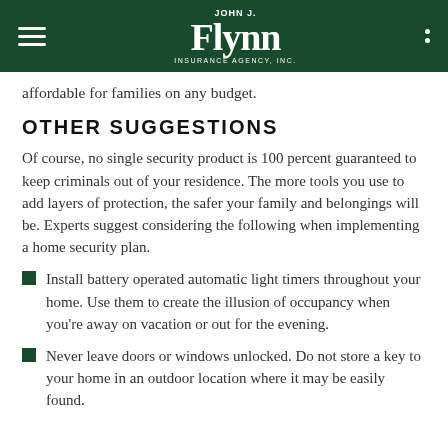John J. Flynn Insurance Agency, Inc.
affordable for families on any budget.
OTHER SUGGESTIONS
Of course, no single security product is 100 percent guaranteed to keep criminals out of your residence. The more tools you use to add layers of protection, the safer your family and belongings will be. Experts suggest considering the following when implementing a home security plan.
Install battery operated automatic light timers throughout your home. Use them to create the illusion of occupancy when you're away on vacation or out for the evening.
Never leave doors or windows unlocked. Do not store a key to your home in an outdoor location where it may be easily found.